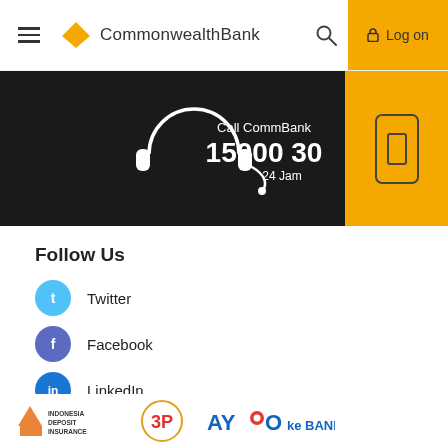Commonwealth Bank — Log on
[Figure (infographic): Call CommBank 15000 30 24 Jam — dark banner with headset icon and yellow mobile button]
Follow Us
Twitter
Facebook
LinkedIn
Youtube
Instagram
[Figure (logo): Indonesia Deposit Insurance logo, 3P logo, AYO ke BANK logo]